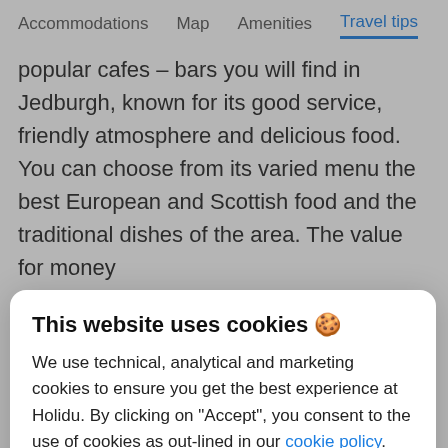Accommodations   Map   Amenities   Travel tips
popular cafes – bars you will find in Jedburgh, known for its good service, friendly atmosphere and delicious food. You can choose from its varied menu the best European and Scottish food and the traditional dishes of the area. The value for money
This website uses cookies 🍪
We use technical, analytical and marketing cookies to ensure you get the best experience at Holidu. By clicking on "Accept", you consent to the use of cookies as out-lined in our cookie policy. You can customise your preferences.